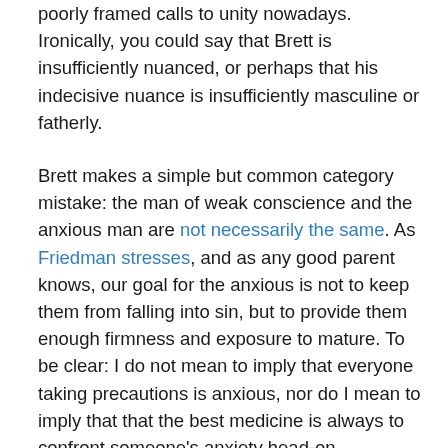poorly framed calls to unity nowadays. Ironically, you could say that Brett is insufficiently nuanced, or perhaps that his indecisive nuance is insufficiently masculine or fatherly.
Brett makes a simple but common category mistake: the man of weak conscience and the anxious man are not necessarily the same. As Friedman stresses, and as any good parent knows, our goal for the anxious is not to keep them from falling into sin, but to provide them enough firmness and exposure to mature. To be clear: I do not mean to imply that everyone taking precautions is anxious, nor do I mean to imply that that the best medicine is always to confront someone's anxiety head-on.
However, anxiety is sin. And that leads us to another of Brett's mistakes, which is to leave out almost entirely the category of the prophetic. He does want us to be faithful to the gospel, but there are many other points at which truth